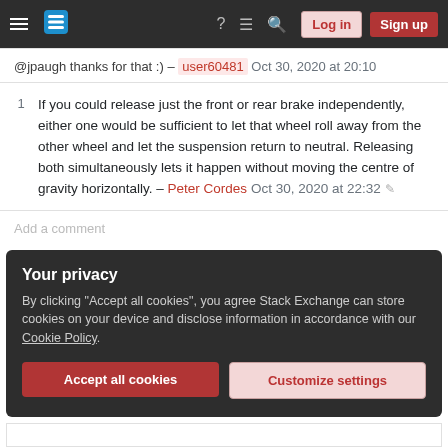Stack Exchange navigation bar with Log in and Sign up buttons
@jpaugh thanks for that :) – user60481 Oct 30, 2020 at 20:10
1  If you could release just the front or rear brake independently, either one would be sufficient to let that wheel roll away from the other wheel and let the suspension return to neutral. Releasing both simultaneously lets it happen without moving the centre of gravity horizontally. – Peter Cordes Oct 30, 2020 at 22:32
Add a comment
Your privacy
By clicking "Accept all cookies", you agree Stack Exchange can store cookies on your device and disclose information in accordance with our Cookie Policy.
Accept all cookies
Customize settings